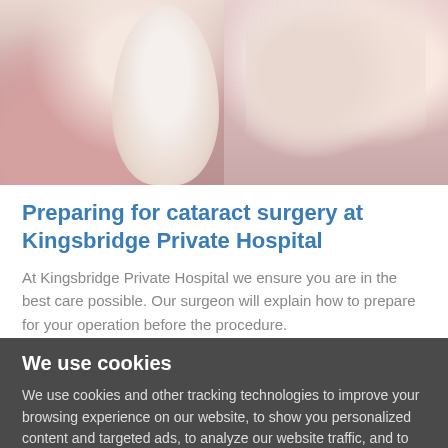[Figure (photo): Two photos side by side: left shows a person in pink clothing (close-up, torso/shoulder area), right shows an elderly woman with a young blonde child, both wearing pink.]
Preparing for cataract surgery at Kingsbridge Private Hospital
At Kingsbridge Private Hospital we ensure you are in the best care possible. Our surgeon will explain how to prepare for your operation before the procedure.
We use cookies
We use cookies and other tracking technologies to improve your browsing experience on our website, to show you personalized content and targeted ads, to analyze our website traffic, and to understand where our visitors are coming from.